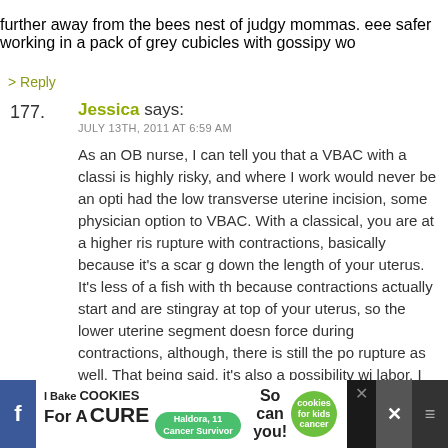further away from the bees nest of judgy mommas. eee safer working in a pack of grey cubicles with gossipy wo
> Reply
177.
Jessica says: JULY 13TH, 2011 AT 6:59 AM
As an OB nurse, I can tell you that a VBAC with a classi is highly risky, and where I work would never be an opti had the low transverse uterine incision, some physician option to VBAC. With a classical, you are at a higher ris rupture with contractions, basically because it's a scar g down the length of your uterus. It's less of a fish with th because contractions actually start and are stingray at top of your uterus, so the lower uterine segment doesn force during contractions, although, there is still the po rupture as well. That being said, it's also a possibility wi labor. I recently had a patient whose uterus ruptured w uterine surgery, she was rushed to the OR and upon op
[Figure (screenshot): Advertisement banner: I Bake COOKIES For A CURE - So can you! with cookies for kids cancer logo and close buttons]